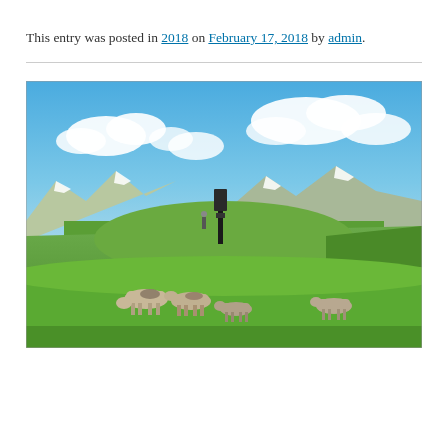This entry was posted in 2018 on February 17, 2018 by admin.
[Figure (photo): Outdoor mountain landscape photograph showing horses grazing on a green hilltop with a communication tower in the background, snow-capped mountains and blue sky with clouds in the distance.]